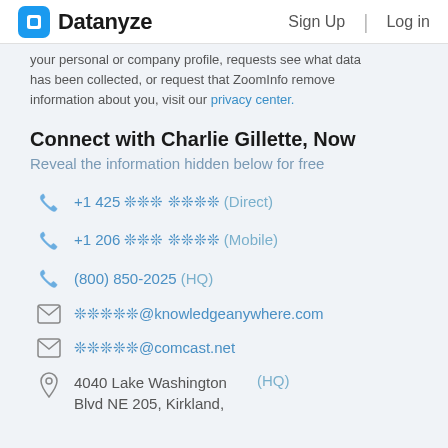Datanyze   Sign Up   Log in
your personal or company profile, requests see what data has been collected, or request that ZoomInfo remove information about you, visit our privacy center.
Connect with Charlie Gillette, Now
Reveal the information hidden below for free
+1 425 ❊❊❊ ❊❊❊❊ (Direct)
+1 206 ❊❊❊ ❊❊❊❊ (Mobile)
(800) 850-2025 (HQ)
❊❊❊❊❊@knowledgeanywhere.com
❊❊❊❊❊@comcast.net
4040 Lake Washington Blvd NE 205, Kirkland, (HQ)